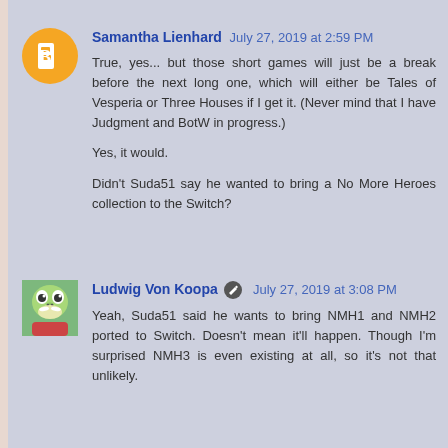Samantha Lienhard  July 27, 2019 at 2:59 PM
True, yes... but those short games will just be a break before the next long one, which will either be Tales of Vesperia or Three Houses if I get it. (Never mind that I have Judgment and BotW in progress.)

Yes, it would.

Didn't Suda51 say he wanted to bring a No More Heroes collection to the Switch?
Ludwig Von Koopa  July 27, 2019 at 3:08 PM
Yeah, Suda51 said he wants to bring NMH1 and NMH2 ported to Switch. Doesn't mean it'll happen. Though I'm surprised NMH3 is even existing at all, so it's not that unlikely.